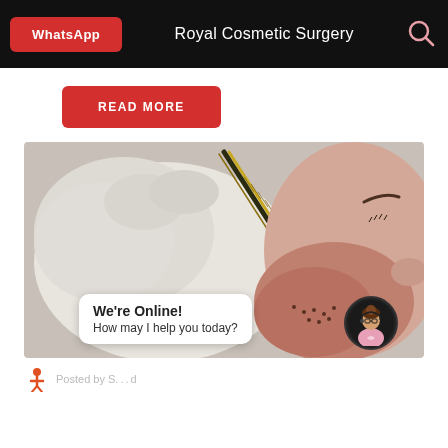WhatsApp | Royal Cosmetic Surgery
READ MORE
[Figure (photo): Close-up photo of a gloved hand using tweezers/forceps to perform a hair transplant procedure on a patient's scalp, showing reddened skin and implanted follicles.]
We're Online! How may I help you today?
Posted by S... d